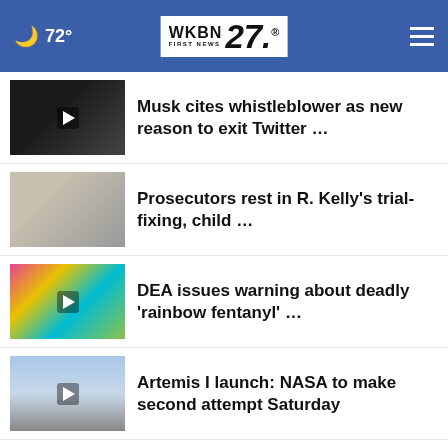WKBN 27 FIRST NEWS — 72°
Musk cites whistleblower as new reason to exit Twitter …
Prosecutors rest in R. Kelly's trial-fixing, child …
DEA issues warning about deadly 'rainbow fentanyl' …
Artemis I launch: NASA to make second attempt Saturday
Masonry column collapses at Lewis & Clark, kills …
More Stories ▸